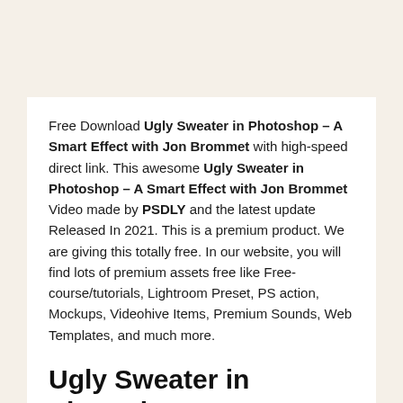Free Download Ugly Sweater in Photoshop – A Smart Effect with Jon Brommet with high-speed direct link. This awesome Ugly Sweater in Photoshop – A Smart Effect with Jon Brommet Video made by PSDLY and the latest update Released In 2021. This is a premium product. We are giving this totally free. In our website, you will find lots of premium assets free like Free-course/tutorials, Lightroom Preset, PS action, Mockups, Videohive Items, Premium Sounds, Web Templates, and much more.
Ugly Sweater in Photoshop – A Smart Effect with Jon